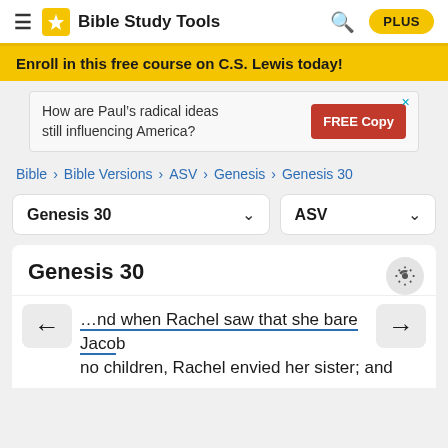Bible Study Tools | PLUS
Enroll in this free course on C.S. Lewis today!
[Figure (screenshot): Advertisement: How are Paul's radical ideas still influencing America? FREE Copy button]
Bible > Bible Versions > ASV > Genesis > Genesis 30
Genesis 30 (chapter dropdown) | ASV (version dropdown)
Genesis 30
And when Rachel saw that she bare Jacob no children, Rachel envied her sister; and